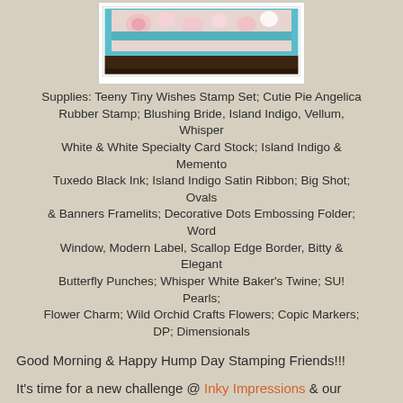[Figure (photo): Photo of a handmade stamped card with floral design, teal ribbon, and dark base stand displayed upright]
Supplies:  Teeny Tiny Wishes Stamp Set; Cutie Pie Angelica Rubber Stamp; Blushing Bride, Island Indigo, Vellum, Whisper White & White Specialty Card Stock; Island Indigo & Memento Tuxedo Black Ink; Island Indigo Satin Ribbon; Big Shot; Ovals & Banners Framelits; Decorative Dots Embossing Folder; Word Window, Modern Label, Scallop Edge Border, Bitty & Elegant Butterfly Punches; Whisper White Baker's Twine; SU! Pearls; Flower Charm; Wild Orchid Crafts Flowers; Copic Markers; DP; Dimensionals
Good Morning & Happy Hump Day Stamping Friends!!!
It's time for a new challenge @ Inky Impressions & our